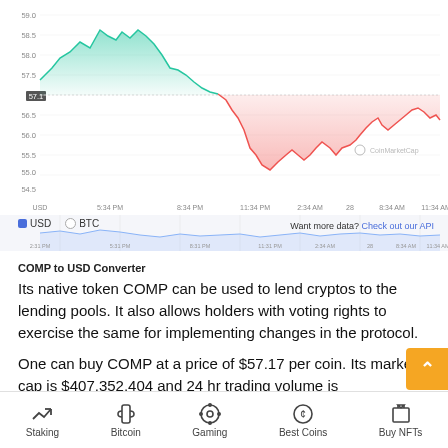[Figure (continuous-plot): COMP/USD price chart showing time series with green area (price above reference) and red area (price below reference), with a smaller navigator chart below. Y-axis shows values from 54.5 to 59.0. X-axis shows times from 2:31 PM to 11:34 AM. CoinMarketCap watermark visible.]
COMP to USD Converter
Its native token COMP can be used to lend cryptos to the lending pools. It also allows holders with voting rights to exercise the same for implementing changes in the protocol.
One can buy COMP at a price of $57.17 per coin. Its market cap is $407,352,404 and 24 hr trading volume is
Staking | Bitcoin | Gaming | Best Coins | Buy NFTs